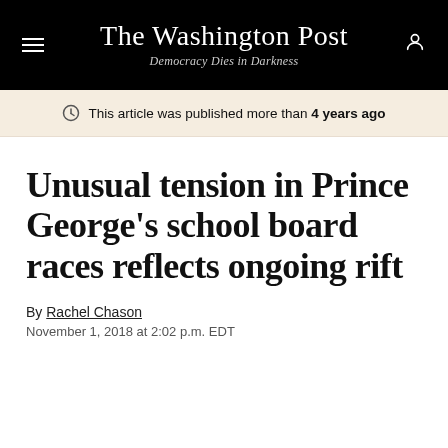The Washington Post — Democracy Dies in Darkness
This article was published more than 4 years ago
Unusual tension in Prince George's school board races reflects ongoing rift
By Rachel Chason
November 1, 2018 at 2:02 p.m. EDT